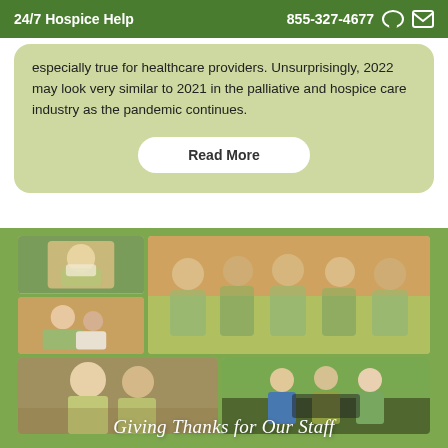24/7 Hospice Help  855-327-4677
especially true for healthcare providers. Unsurprisingly, 2022 may look very similar to 2021 in the palliative and hospice care industry as the pandemic continues.
Read More
[Figure (photo): Collage of hospice staff photos: nurse with mask outdoors, nurse with patient, group of five staff in green scrubs, two smiling staff members embracing, outdoor ceremony with people at a table]
Giving Thanks for Our Staff